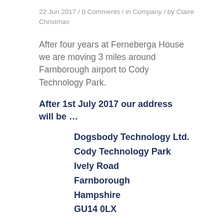22 Jun 2017 / 0 Comments / in Company / by Claire Christmas
After four years at Ferneberga House we are moving 3 miles around Farnborough airport to Cody Technology Park.
After 1st July 2017 our address will be …
Dogsbody Technology Ltd.
Cody Technology Park
Ively Road
Farnborough
Hampshire
GU14 0LX
Please update any record you have.  All other